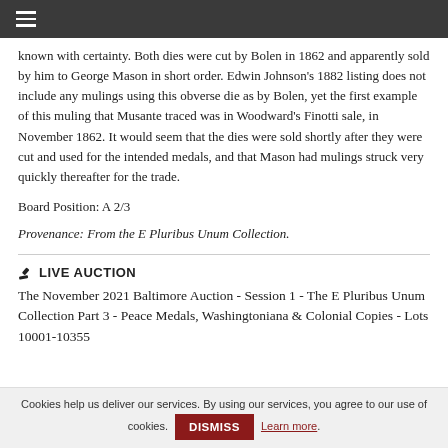☰
known with certainty. Both dies were cut by Bolen in 1862 and apparently sold by him to George Mason in short order. Edwin Johnson's 1882 listing does not include any mulings using this obverse die as by Bolen, yet the first example of this muling that Musante traced was in Woodward's Finotti sale, in November 1862. It would seem that the dies were sold shortly after they were cut and used for the intended medals, and that Mason had mulings struck very quickly thereafter for the trade.
Board Position: A 2/3
Provenance: From the E Pluribus Unum Collection.
🔨 LIVE AUCTION
The November 2021 Baltimore Auction - Session 1 - The E Pluribus Unum Collection Part 3 - Peace Medals, Washingtoniana & Colonial Copies - Lots 10001-10355
Cookies help us deliver our services. By using our services, you agree to our use of cookies. DISMISS Learn more.